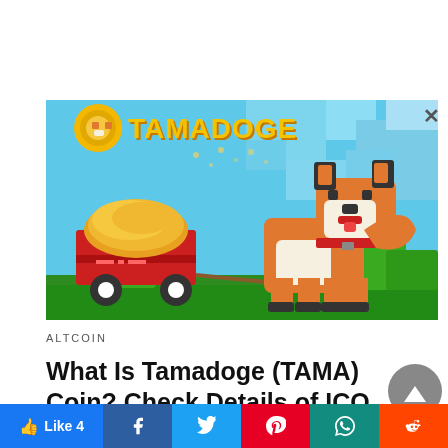[Figure (illustration): Pixel art style game screenshot showing a Shiba Inu dog pulling a red wagon full of gold coins. The TAMADOGE logo with a golden coin icon appears in the top-left. Sky blue pixelated background with green grass and bushes.]
ALTCOIN
What Is Tamadoge (TAMA) Coin? Check Details of ICO Pre-Sale and Eco-system
by the author...
Like 4 | Facebook | Twitter | Pinterest | WhatsApp | Reddit